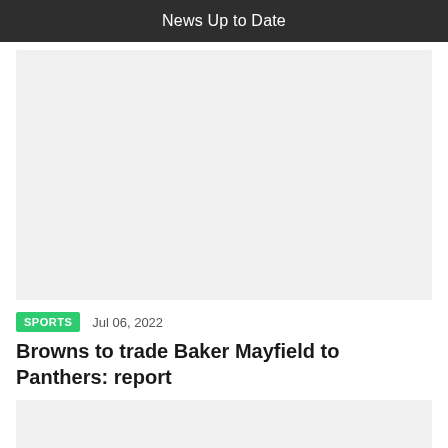News Up to Date
[Figure (photo): Large image placeholder, light grey background]
SPORTS   Jul 06, 2022
Browns to trade Baker Mayfield to Panthers: report
[Figure (photo): Second image placeholder, light grey background]